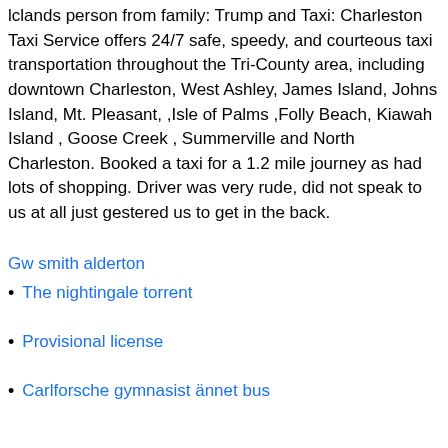lclands person from family: Trump and Taxi: Charleston Taxi Service offers 24/7 safe, speedy, and courteous taxi transportation throughout the Tri-County area, including downtown Charleston, West Ashley, James Island, Johns Island, Mt. Pleasant, ,Isle of Palms ,Folly Beach, Kiawah Island , Goose Creek , Summerville and North Charleston. Booked a taxi for a 1.2 mile journey as had lots of shopping. Driver was very rude, did not speak to us at all just gestered us to get in the back.
Gw smith alderton
The nightingale torrent
Provisional license
Carlforsche gymnasist ännet bus